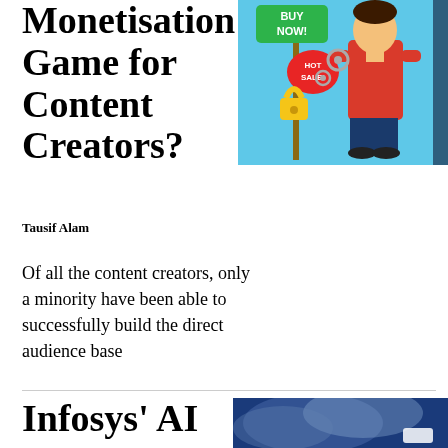Monetisation Game for Content Creators?
[Figure (illustration): Colorful illustration of a person in red shirt with sale signs showing 'BUY NOW!' and 'HOT SALE!' tags, gears, and a padlock on a light blue background]
Tausif Alam
Of all the content creators, only a minority have been able to successfully build the direct audience base
Infosys' AI &
[Figure (photo): Photo of blue smoke or clouds with a white logo partially visible at the bottom right, dark blue background]